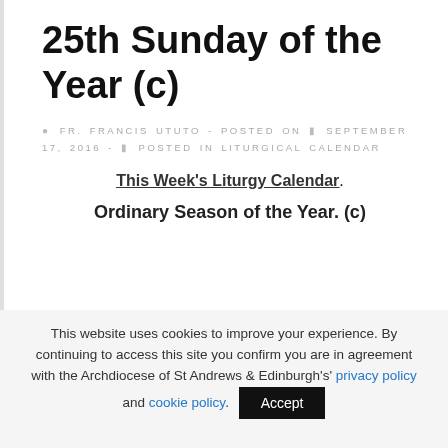25th Sunday of the Year (c)
FR. FRANCIS UTUTO - POSTED ON SEPTEMBER 17, 2016 - POSTED IN LITURGICAL CALENDAR
This Week's Liturgy Calendar.
Ordinary Season of the Year. (c)
This website uses cookies to improve your experience. By continuing to access this site you confirm you are in agreement with the Archdiocese of St Andrews & Edinburgh's' privacy policy and cookie policy.